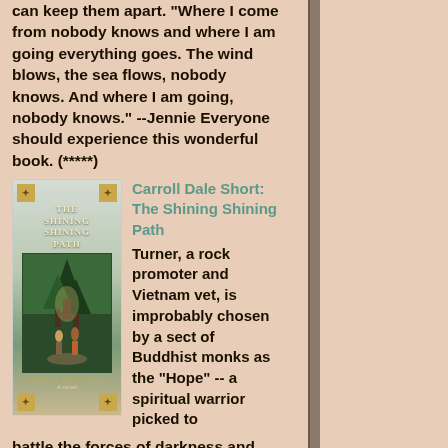can keep them apart. "Where I come from nobody knows and where I am going everything goes. The wind blows, the sea flows, nobody knows. And where I am going, nobody knows." --Jennie Everyone should experience this wonderful book. (*****)
[Figure (illustration): Book cover of 'The Shining Shining Path' by Carroll Dale Short, showing a forest scene with figures, decorative gold ornaments in corners, cream-colored title text]
Carroll Dale Short: The Shining Shining Path Turner, a rock promoter and Vietnam vet, is improbably chosen by a sect of Buddhist monks as the "Hope" -- a spiritual warrior picked to battle the forces of darkness and evil in times of millenial world crisis. And the conflagration will come in his native Alabama. The skeptical Turner is sent home with six monks whose special talents he will need. While waiting for the Armageddon, he sets off on a new